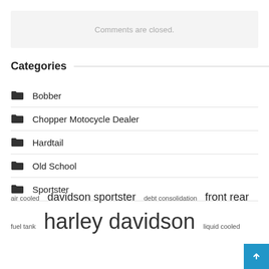Comments are closed.
Categories
Bobber
Chopper Motocycle Dealer
Hardtail
Old School
Sportster
air cooled  davidson sportster  debt consolidation  front rear  fuel tank  harley davidson  liquid cooled